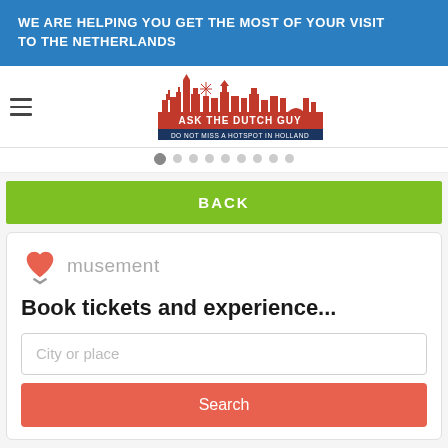WE ARE HELPING YOU GET THE MOST OF YOUR VISIT TO THE NETHERLANDS
[Figure (logo): Ask The Dutch Guy logo — red silhouette of Dutch cityscape with windmill and church spires, with text 'ASK THE DUTCH GUY / DO NOT MISS A HOTSPOT IN HOLLAND' on a red/dark blue band]
BACK
[Figure (logo): Musement logo — orange/red heart icon followed by the word 'musement' in grey]
Book tickets and experience...
City or place
Search